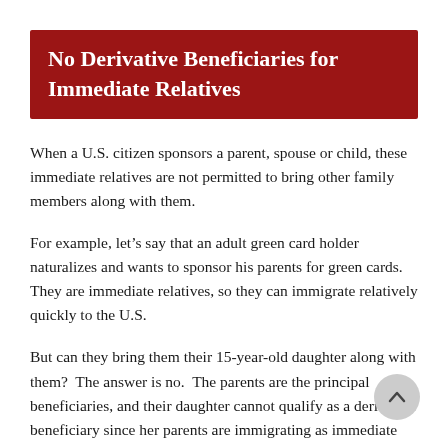No Derivative Beneficiaries for Immediate Relatives
When a U.S. citizen sponsors a parent, spouse or child, these immediate relatives are not permitted to bring other family members along with them.
For example, let’s say that an adult green card holder naturalizes and wants to sponsor his parents for green cards.  They are immediate relatives, so they can immigrate relatively quickly to the U.S.
But can they bring them their 15-year-old daughter along with them?  The answer is no.  The parents are the principal beneficiaries, and their daughter cannot qualify as a derivative beneficiary since her parents are immigrating as immediate relatives.
Instead, her U.S. citizen brother could sponsor her as his